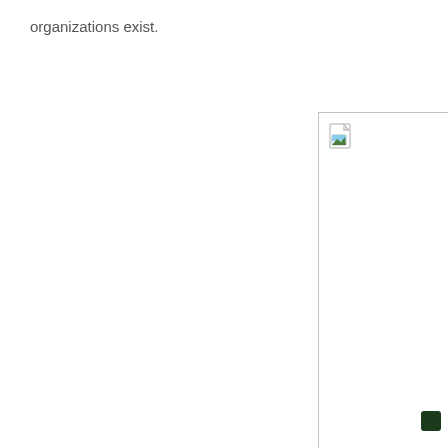organizations exist.
[Figure (other): A partially visible image placeholder (broken/missing image icon) with a white background and a border on the left and top edges, positioned in the right portion of the page. A small dark green square appears near the bottom-right corner of the image area.]